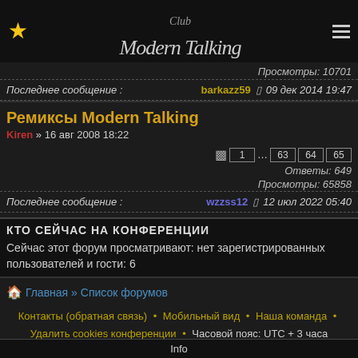★ Modern Talking Club
Просмотры: 10701
Последнее сообщение : barkazz59 ⏎ 09 дек 2014 19:47
Ремиксы Modern Talking
Kiren » 16 авг 2008 18:22
Ответы: 649
Просмотры: 65858
Последнее сообщение : wzzss12 ⏎ 12 июл 2022 05:40
КТО СЕЙЧАС НА КОНФЕРЕНЦИИ
Сейчас этот форум просматривают: нет зарегистрированных пользователей и гости: 6
🏠 Главная » Список форумов
Контакты (обратная связь) • Мобильный вид • Наша команда •
Удалить cookies конференции • Часовой пояс: UTC + 3 часа
Info